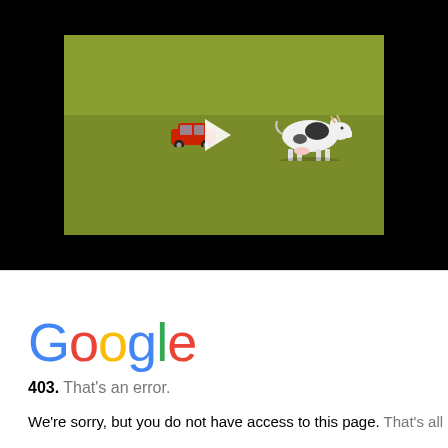[Figure (screenshot): Video thumbnail on black background showing a green-screened scene with a red toy car and a black-and-white toy cow figurine, with a white play button triangle overlay in the center.]
[Figure (screenshot): Google 403 error page showing the Google logo in multicolor and the text '403. That's an error.' followed by 'We're sorry, but you do not have access to this page. That's all we know.']
Google
403. That's an error.
We're sorry, but you do not have access to this page. That's all